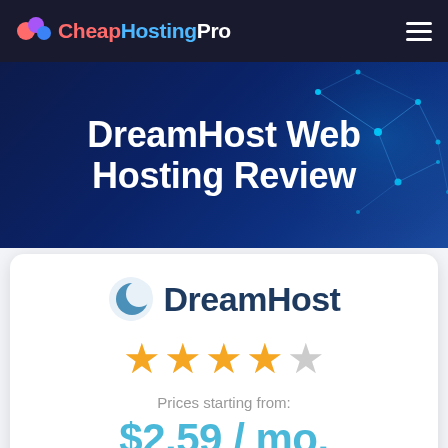CheapHostingPro
DreamHost Web Hosting Review
[Figure (logo): DreamHost logo with crescent moon icon and DreamHost wordmark in dark navy]
★★★★☆ (4 out of 5 stars)
Prices starting from:
$2.59 / mo.